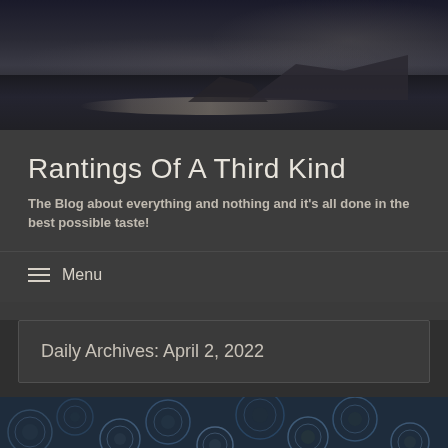[Figure (photo): Dark moody landscape photo showing a body of water with mountains in the background and dramatic cloudy sky]
Rantings Of A Third Kind
The Blog about everything and nothing and it's all done in the best possible taste!
≡ Menu
Daily Archives: April 2, 2022
[Figure (photo): Close-up photo of blue-tinted logs or shells with circular cross-sections]